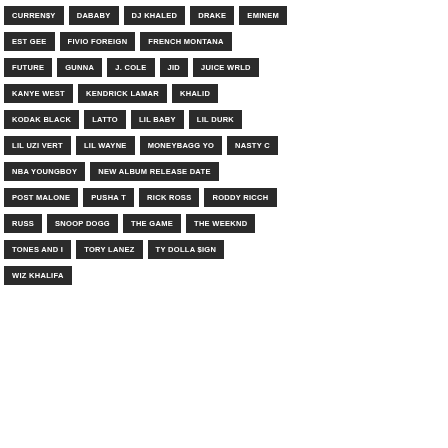CURREN$Y
DABABY
DJ KHALED
DRAKE
EMINEM
EST GEE
FIVIO FOREIGN
FRENCH MONTANA
FUTURE
GUNNA
J. COLE
JID
JUICE WRLD
KANYE WEST
KENDRICK LAMAR
KHALID
KODAK BLACK
LATTO
LIL BABY
LIL DURK
LIL UZI VERT
LIL WAYNE
MONEYBAGG YO
NASTY C
NBA YOUNGBOY
NEW ALBUM RELEASE DATE
POST MALONE
PUSHA T
RICK ROSS
RODDY RICCH
RUSS
SNOOP DOGG
THE GAME
THE WEEKND
TONES AND I
TORY LANEZ
TY DOLLA $IGN
WIZ KHALIFA